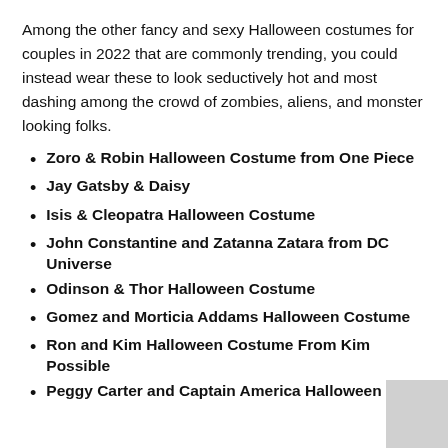Among the other fancy and sexy Halloween costumes for couples in 2022 that are commonly trending, you could instead wear these to look seductively hot and most dashing among the crowd of zombies, aliens, and monster looking folks.
Zoro & Robin Halloween Costume from One Piece
Jay Gatsby & Daisy
Isis & Cleopatra Halloween Costume
John Constantine and Zatanna Zatara from DC Universe
Odinson & Thor Halloween Costume
Gomez and Morticia Addams Halloween Costume
Ron and Kim Halloween Costume From Kim Possible
Peggy Carter and Captain America Halloween